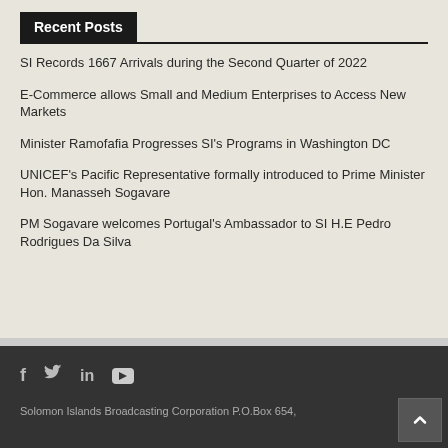Recent Posts
SI Records 1667 Arrivals during the Second Quarter of 2022
E-Commerce allows Small and Medium Enterprises to Access New Markets
Minister Ramofafia Progresses SI's Programs in Washington DC
UNICEF's Pacific Representative formally introduced to Prime Minister Hon. Manasseh Sogavare
PM Sogavare welcomes Portugal's Ambassador to SI H.E Pedro Rodrigues Da Silva
Solomon Islands Broadcasting Corporation P.O.Box 654,